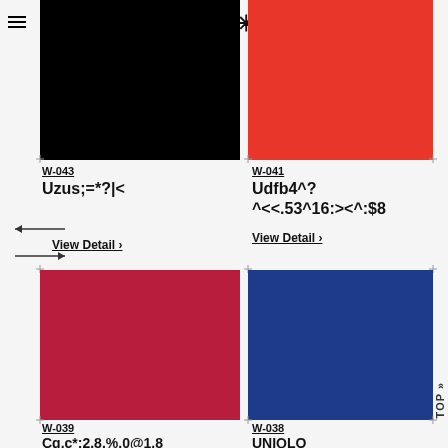* Concept Conception
[Figure (illustration): Black color swatch rectangle (W-043)]
[Figure (illustration): Red color swatch rectangle (W-041)]
W-043
Uzus;=*?|<
View Detail >
W-041
Udfb4^?
^<<.53^16:><^:$8
View Detail >
[Figure (illustration): Crimson/dark red color swatch rectangle (W-039)]
[Figure (illustration): Navy blue color swatch rectangle (W-038)]
W-039
Cg.c*:2.8.%.0@1.8
W-038
UNIQLO